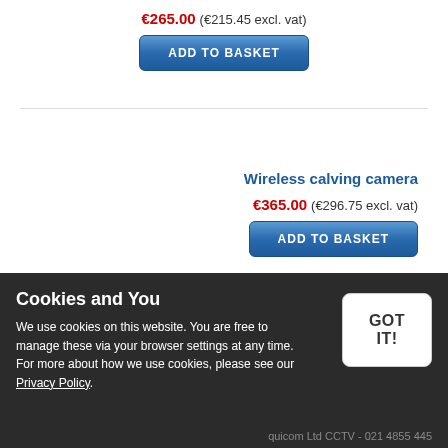€265.00 (€215.45 excl. vat)
ADD TO BASKET
Wireless calving camera
€365.00 (€296.75 excl. vat)
ADD TO BASKET
Cookies and You
We use cookies on this website. You are free to manage these via your browser settings at any time. For more about how we use cookies, please see our Privacy Policy.
GOT IT!
quicom Ltd CCTV - 021 4855 445